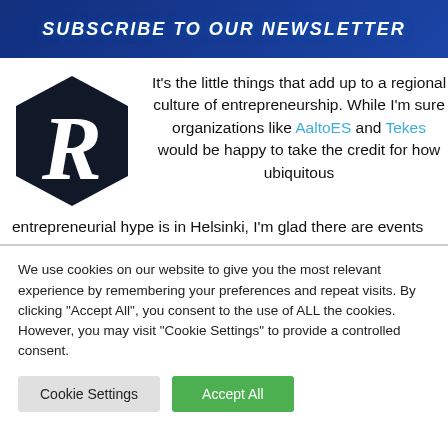[Figure (illustration): Blue banner with bold italic white text 'SUBSCRIBE TO OUR NEWSLETTER' on a dark blue background]
[Figure (logo): Black hexagon logo with white letter R inside]
It's the little things that add up to a regional culture of entrepreneurship. While I'm sure organizations like AaltoES and Tekes would be happy to take the credit for how ubiquitous entrepreneurial hype is in Helsinki, I'm glad there are events
We use cookies on our website to give you the most relevant experience by remembering your preferences and repeat visits. By clicking "Accept All", you consent to the use of ALL the cookies. However, you may visit "Cookie Settings" to provide a controlled consent.